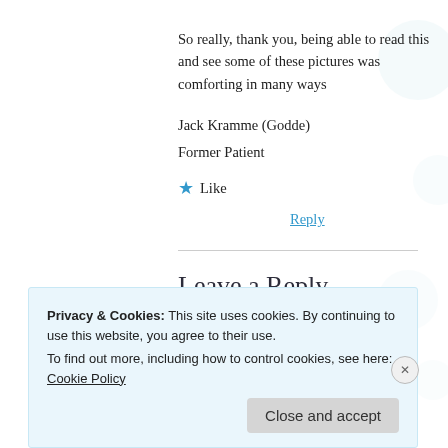So really, thank you, being able to read this and see some of these pictures was comforting in many ways
Jack Kramme (Godde)
Former Patient
★ Like
Reply
Leave a Reply
Privacy & Cookies: This site uses cookies. By continuing to use this website, you agree to their use.
To find out more, including how to control cookies, see here: Cookie Policy
Close and accept